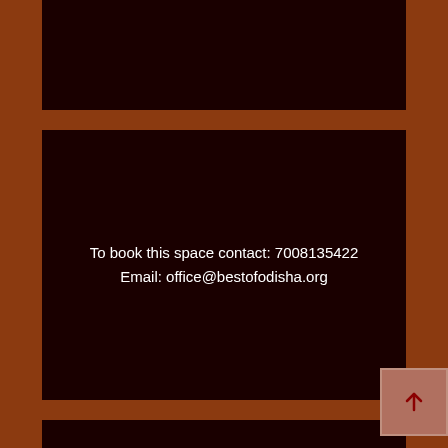[Figure (other): Dark maroon rectangular panel at the top of the page, partially visible]
To book this space contact: 7008135422
Email: office@bestofodisha.org
[Figure (other): Dark maroon rectangular panel at the bottom of the page, partially cut off]
To book this space contact: 7008135422
[Figure (other): Arrow button pointing upward, brownish-red square with an upward arrow icon]